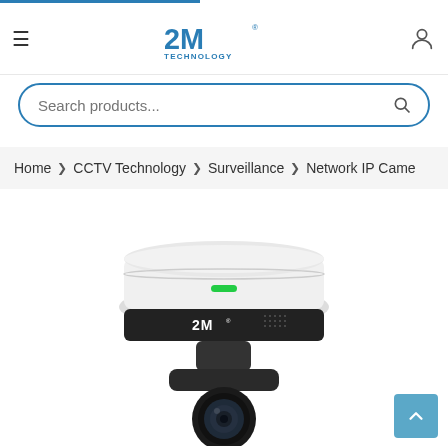2M Technology
Search products...
Home > CCTV Technology > Surveillance > Network IP Came
[Figure (photo): 2M Technology PTZ IP network surveillance camera, white dome body with green LED indicator and 2M branding, mounted on a dark pan-tilt base with lens visible at bottom.]